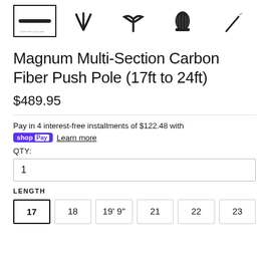[Figure (photo): Five product thumbnail images of carbon fiber push pole and accessories (pole, fork tip, claw tip, bullet tip, pencil tip) shown in a horizontal row, with the first image selected/highlighted.]
Magnum Multi-Section Carbon Fiber Push Pole (17ft to 24ft)
$489.95
Pay in 4 interest-free installments of $122.48 with
shop Pay  Learn more
QTY:
1
LENGTH
17  18  19' 9"  21  22  23